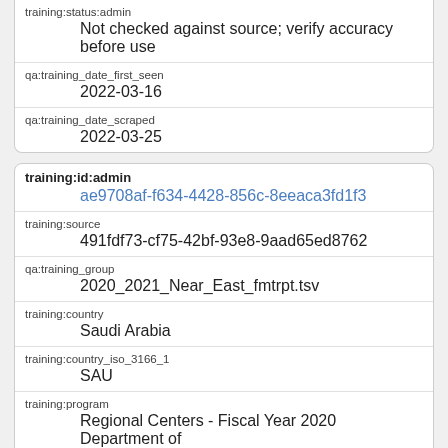training:status:admin
Not checked against source; verify accuracy before use
qa:training_date_first_seen
2022-03-16
qa:training_date_scraped
2022-03-25
training:id:admin
ae9708af-f634-4428-856c-8eeaca3fd1f3
training:source
491fdf73-cf75-42bf-93e8-9aad65ed8762
qa:training_group
2020_2021_Near_East_fmtrpt.tsv
training:country
Saudi Arabia
training:country_iso_3166_1
SAU
training:program
Regional Centers - Fiscal Year 2020 Department of